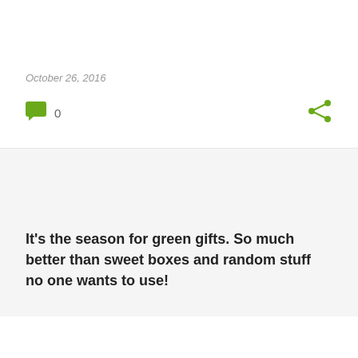October 26, 2016
[Figure (infographic): Comment icon (green speech bubble) with count 0, and share icon (green) on the right]
It's the season for green gifts. So much better than sweet boxes and random stuff no one wants to use!